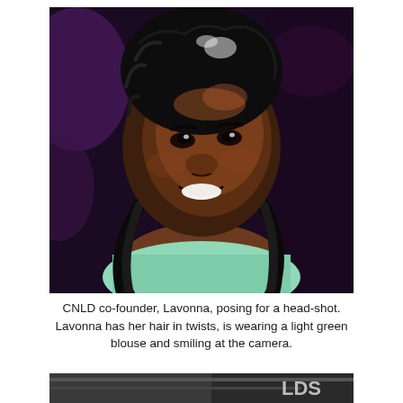[Figure (photo): A portrait/headshot photo of Lavonna, CNLD co-founder. She has her hair in twists/braids, is wearing a light green blouse, and is smiling at the camera. The background is dark purple/black with bokeh lighting.]
CNLD co-founder, Lavonna, posing for a head-shot. Lavonna has her hair in twists, is wearing a light green blouse and smiling at the camera.
[Figure (photo): Partial photo at the bottom of the page showing what appears to be a storefront or building interior, partially cut off.]